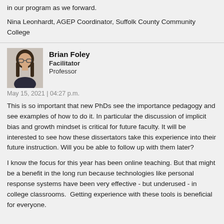in our program as we forward.
Nina Leonhardt, AGEP Coordinator, Suffolk County Community College
Brian Foley
Facilitator
Professor
May 15, 2021 | 04:27 p.m.
This is so important that new PhDs see the importance pedagogy and see examples of how to do it. In particular the discussion of implicit bias and growth mindset is critical for future faculty. It will be interested to see how these dissertators take this experience into their future instruction. Will you be able to follow up with them later?
I know the focus for this year has been online teaching. But that might be a benefit in the long run because technologies like personal response systems have been very effective - but underused - in college classrooms.  Getting experience with these tools is beneficial for everyone.